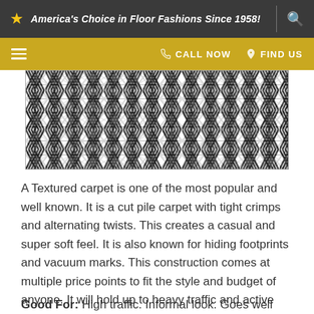America's Choice in Floor Fashions Since 1958!
[Figure (photo): Close-up texture image of a textured cut pile carpet showing tight crimps and alternating twists in a black and white striped zigzag pattern]
A Textured carpet is one of the most popular and well known. It is a cut pile carpet with tight crimps and alternating twists. This creates a casual and super soft feel. It is also known for hiding footprints and vacuum marks. This construction comes at multiple price points to fit the style and budget of anyone. It will hold up to heavy traffic and active families.
Good For: High traffic. Informal look. Goes well